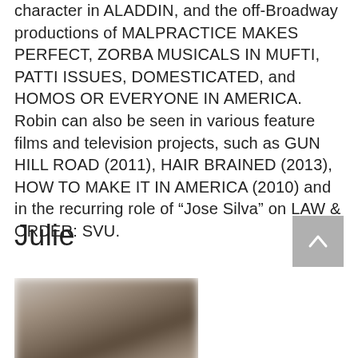character in ALADDIN, and the off-Broadway productions of MALPRACTICE MAKES PERFECT, ZORBA MUSICALS IN MUFTI, PATTI ISSUES, DOMESTICATED, and HOMOS OR EVERYONE IN AMERICA. Robin can also be seen in various feature films and television projects, such as GUN HILL ROAD (2011), HAIR BRAINED (2013), HOW TO MAKE IT IN AMERICA (2010) and in the recurring role of “Jose Silva” on LAW & ORDER: SVU.
Julie
[Figure (photo): Headshot photo of a woman with dark brown hair, blurred/redacted]